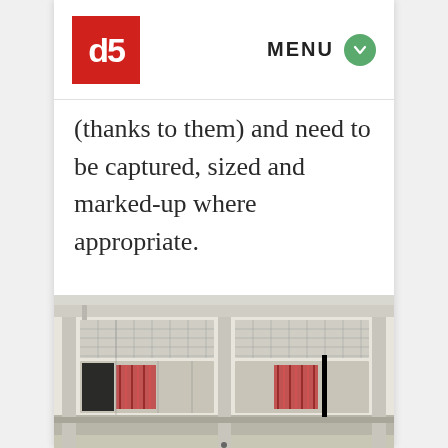db MENU
(thanks to them) and need to be captured, sized and marked-up where appropriate.
[Figure (photo): Exterior photograph of a building facade with white/grey walls, louvred windows arranged in a grid pattern, red patterned curtains visible behind the windows, and a covered walkway with columns. The building appears to be in Singapore in a mid-20th century architectural style.]